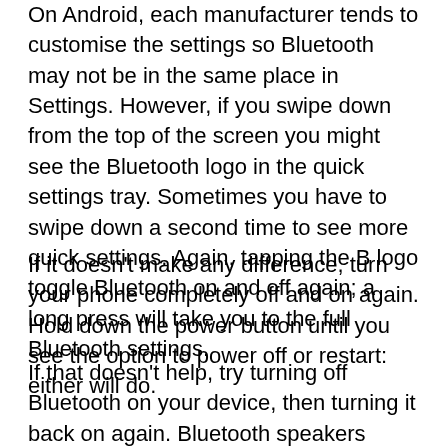On Android, each manufacturer tends to customise the settings so Bluetooth may not be in the same place in Settings. However, if you swipe down from the top of the screen you might see the Bluetooth logo in the quick settings tray. Sometimes you have to swipe down a second time to see more quick settings. Again, tapping the B logo toggle Bluetooth on and off again; a long press will take you to the full Bluetooth settings.
If it doesn't make any difference, turn your phone completely off and on again. Hold down the power button until you see the option to power off or restart: either will do.
If that doesn't help, try turning off Bluetooth on your device, then turning it back on again. Bluetooth speakers might not allow this, but